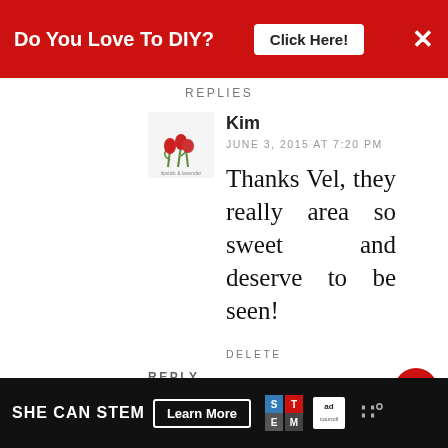Do You Love To DIY? Click Here! ×
REPLIES
Kim
JUNE 3, 2015 AT 7:20 PM
Thanks Vel, they really area so sweet and deserve to be seen!
DELETE
REPLY
Lynne
JUNE 3, 2015 AT 8:13 AM
Very sweet of your sis and a perfect
SHE CAN STEM Learn More